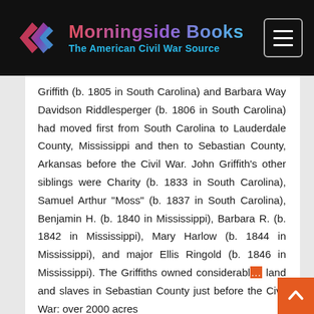[Figure (logo): Morningside Books logo with stylized arrow/chevron icon in red-purple gradient, text 'Morningside Books' in gradient and 'The American Civil War Source' in blue, on black background with hamburger menu button]
Griffith (b. 1805 in South Carolina) and Barbara Way Davidson Riddlesperger (b. 1806 in South Carolina) had moved first from South Carolina to Lauderdale County, Mississippi and then to Sebastian County, Arkansas before the Civil War. John Griffith’s other siblings were Charity (b. 1833 in South Carolina), Samuel Arthur “Moss” (b. 1837 in South Carolina), Benjamin H. (b. 1840 in Mississippi), Barbara R. (b. 1842 in Mississippi), Mary Harlow (b. 1844 in Mississippi), and major Ellis Ringold (b. 1846 in Mississippi). The Griffiths owned considerabl… land and slaves in Sebastian County just before the Civil War: over 2000 acres